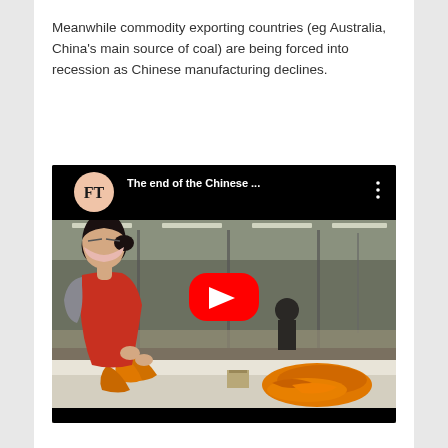Meanwhile commodity exporting countries (eg Australia, China's main source of coal) are being forced into recession as Chinese manufacturing declines.
[Figure (screenshot): YouTube video thumbnail showing a Financial Times video titled 'The end of the Chinese ...' with a woman in a red apron and pink face mask working at a sewing table in a factory, handling orange fabric. A red YouTube play button is centered on the image. The FT logo (salmon/pink circle with 'FT' in serif font) is in the upper left.]